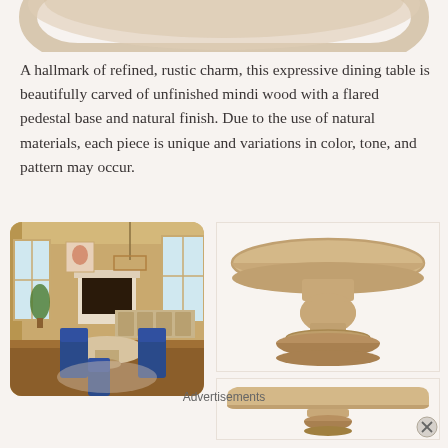[Figure (photo): Top portion of a round wooden table top, partially cropped, shown from above with light wood grain texture]
A hallmark of refined, rustic charm, this expressive dining table is beautifully carved of unfinished mindi wood with a flared pedestal base and natural finish. Due to the use of natural materials, each piece is unique and variations in color, tone, and pattern may occur.
[Figure (photo): Interior dining room scene with round pedestal table, blue upholstered chairs, fireplace, large windows, and warm beige walls]
[Figure (photo): Round pedestal dining table shown solo on white background, side view showing pedestal base with carved detailing]
[Figure (photo): Round pedestal dining table top shown from side/profile view on white background, showing edge profile and base]
Advertisements